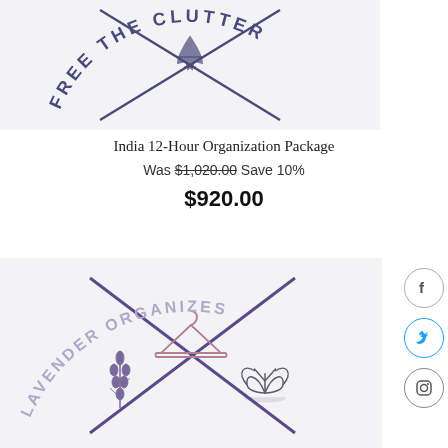[Figure (logo): Free The Clutter logo with airplane icon and crossed diagonal lines, circular text arrangement on light background]
India 12-Hour Organization Package
Was $1,020.00 Save 10%
$920.00
[Figure (logo): Lavender Organizes logo with hanger, lavender sprig, and lotus flower icons, crossed diagonal lines, circular text arrangement on light background]